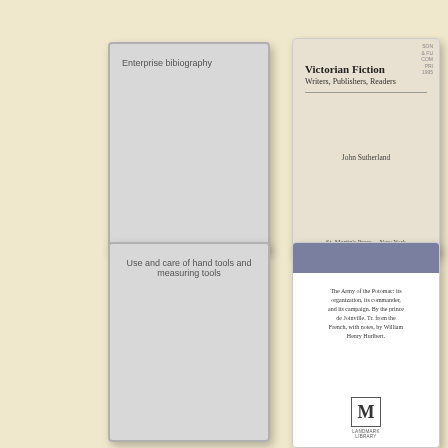[Figure (illustration): Book cover: Enterprise bibliography, gray cover with light border]
Enterprise bibiography
[Figure (illustration): Book cover: Victorian Fiction - Writers, Publishers, Readers by John Sutherland, St. Martin's Press, New York]
Victorian fiction
[Figure (illustration): Book cover: Use and care of hand tools and measuring tools, gray cover]
[Figure (illustration): Book cover: The Army of the Potomac, its organization, its commander, and its campaign by the prince de Joinville, with notes by William Henry Hurlbert, publisher logo at bottom]